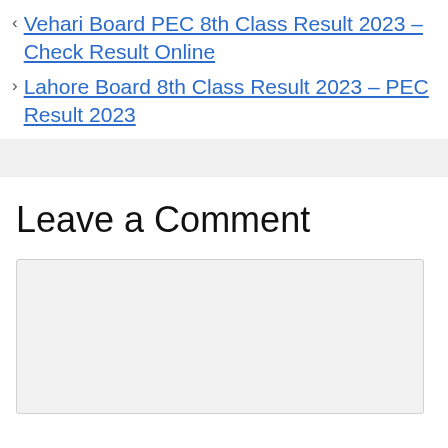< Vehari Board PEC 8th Class Result 2023 – Check Result Online
> Lahore Board 8th Class Result 2023 – PEC Result 2023
Leave a Comment